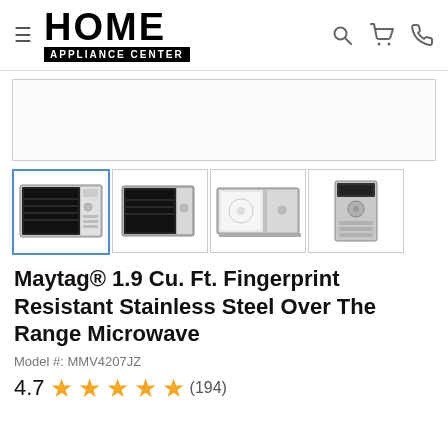[Figure (logo): Home Appliance Center logo with hamburger menu and navigation icons (search, cart, phone)]
[Figure (photo): Main product image area — Maytag over-the-range microwave, large view (mostly blank/white in this crop)]
[Figure (photo): Thumbnail 1 (selected): front view of Maytag stainless steel over-the-range microwave]
[Figure (photo): Thumbnail 2: left-angle view of Maytag over-the-range microwave]
[Figure (photo): Thumbnail 3: microwave with door open showing interior]
[Figure (photo): Thumbnail 4: close-up of control panel]
Maytag® 1.9 Cu. Ft. Fingerprint Resistant Stainless Steel Over The Range Microwave
Model #: MMV4207JZ
4.7 ★★★★★ (194)